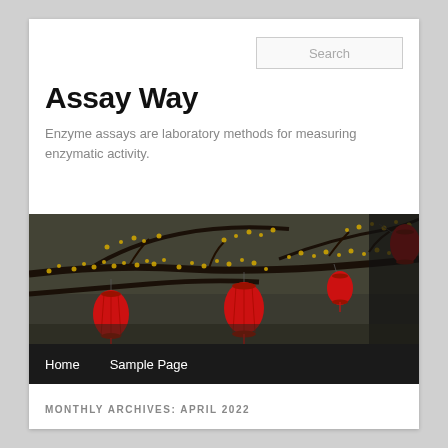Search
Assay Way
Enzyme assays are laboratory methods for measuring enzymatic activity.
[Figure (photo): Photo of tree branches with yellow blossoms and red Chinese lanterns hanging from them, dark background]
MONTHLY ARCHIVES: APRIL 2022